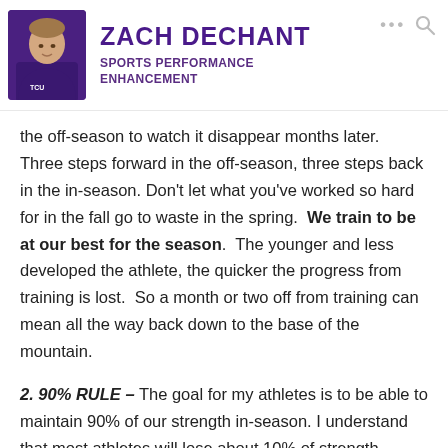ZACH DECHANT — SPORTS PERFORMANCE ENHANCEMENT
the off-season to watch it disappear months later. Three steps forward in the off-season, three steps back in the in-season. Don't let what you've worked so hard for in the fall go to waste in the spring. We train to be at our best for the season. The younger and less developed the athlete, the quicker the progress from training is lost. So a month or two off from training can mean all the way back down to the base of the mountain.
2. 90% RULE – The goal for my athletes is to be able to maintain 90% of our strength in-season. I understand that most athletes will lose about 10% of strength throughout the course of the season. This especially applies for a sport like football due to the higher energy and CNS demands. Having